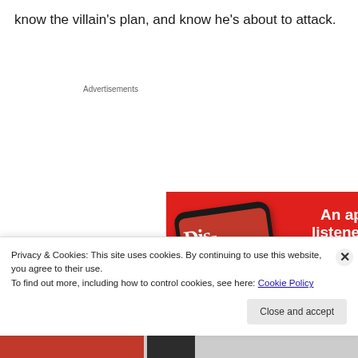know the villain's plan, and know he's about to attack.
Advertisements
[Figure (screenshot): Advertisement banner for a podcast app. Red background with a smartphone displaying a podcast called 'Distributed', with text 'An app by listeners, for listeners.' and a 'Download now' button.]
Privacy & Cookies: This site uses cookies. By continuing to use this website, you agree to their use.
To find out more, including how to control cookies, see here: Cookie Policy
Close and accept